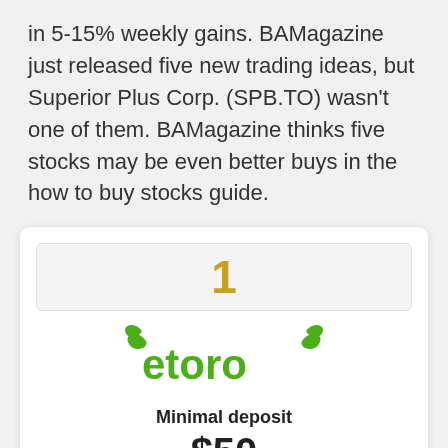in 5-15% weekly gains. BAMagazine just released five new trading ideas, but Superior Plus Corp. (SPB.TO) wasn't one of them. BAMagazine thinks five stocks may be even better buys in the how to buy stocks guide.
[Figure (infographic): eToro broker card showing rank #1, eToro logo in green, minimal deposit of $50, exclusive promotion label, and English language flag badge]